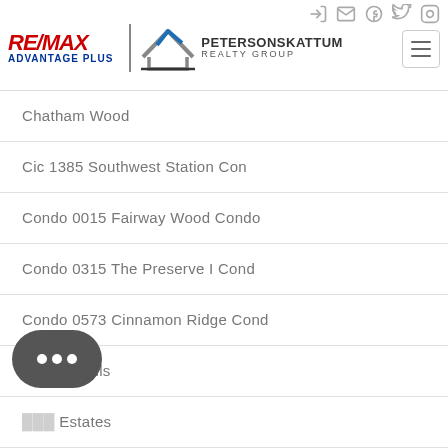RE/MAX Advantage Plus | Peterson Skattum Realty Group
Chatham Wood
Cic 1385 Southwest Station Con
Condo 0015 Fairway Wood Condo
Condo 0315 The Preserve I Cond
Condo 0573 Cinnamon Ridge Cond
Creek Knolls
Estates
Dettwood